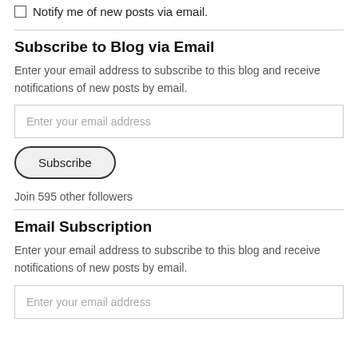Notify me of new posts via email.
Subscribe to Blog via Email
Enter your email address to subscribe to this blog and receive notifications of new posts by email.
Enter your email address
Subscribe
Join 595 other followers
Email Subscription
Enter your email address to subscribe to this blog and receive notifications of new posts by email.
Enter your email address